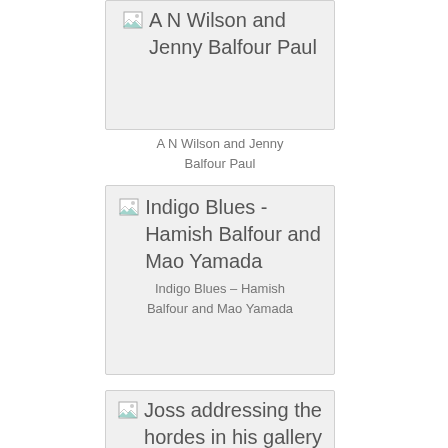[Figure (other): Card with broken image placeholder for A N Wilson and Jenny Balfour Paul. Shows image alt text and caption below.]
A N Wilson and Jenny Balfour Paul
[Figure (other): Card with broken image placeholder for Indigo Blues - Hamish Balfour and Mao Yamada. Shows image alt text and caption below.]
Indigo Blues – Hamish Balfour and Mao Yamada
[Figure (other): Card with broken image placeholder for Joss addressing the hordes in his gallery. Shows image alt text and caption below.]
Joss addressing the hordes in his gallery